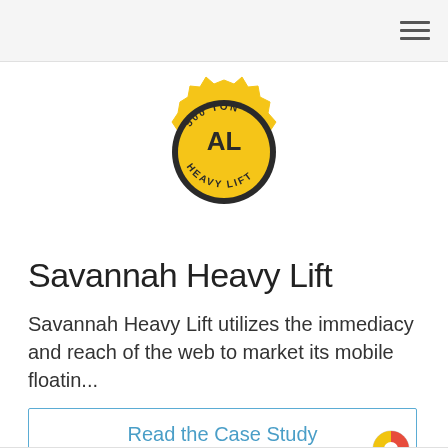[Figure (logo): Savannah Heavy Lift logo — yellow gear/badge shape with black text reading '500 TON' at top, 'AL' in center, and 'HEAVY LIFT' curved at bottom]
Savannah Heavy Lift
Savannah Heavy Lift utilizes the immediacy and reach of the web to market its mobile floatin...
Read the Case Study